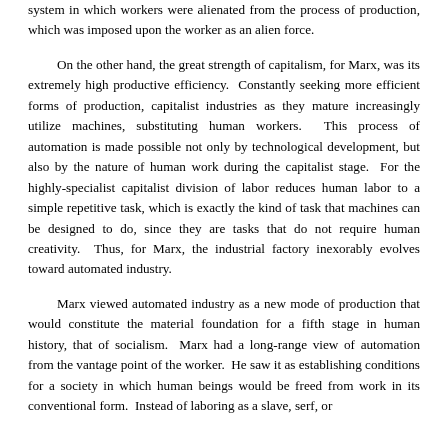system in which workers were alienated from the process of production, which was imposed upon the worker as an alien force.
On the other hand, the great strength of capitalism, for Marx, was its extremely high productive efficiency. Constantly seeking more efficient forms of production, capitalist industries as they mature increasingly utilize machines, substituting human workers. This process of automation is made possible not only by technological development, but also by the nature of human work during the capitalist stage. For the highly-specialist capitalist division of labor reduces human labor to a simple repetitive task, which is exactly the kind of task that machines can be designed to do, since they are tasks that do not require human creativity. Thus, for Marx, the industrial factory inexorably evolves toward automated industry.
Marx viewed automated industry as a new mode of production that would constitute the material foundation for a fifth stage in human history, that of socialism. Marx had a long-range view of automation from the vantage point of the worker. He saw it as establishing conditions for a society in which human beings would be freed from work in its conventional form. Instead of laboring as a slave, serf, or